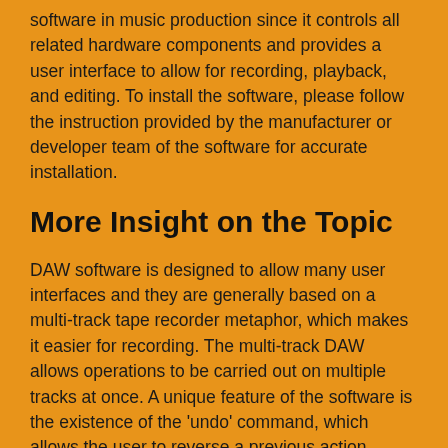software in music production since it controls all related hardware components and provides a user interface to allow for recording, playback, and editing. To install the software, please follow the instruction provided by the manufacturer or developer team of the software for accurate installation.
More Insight on the Topic
DAW software is designed to allow many user interfaces and they are generally based on a multi-track tape recorder metaphor, which makes it easier for recording. The multi-track DAW allows operations to be carried out on multiple tracks at once. A unique feature of the software is the existence of the 'undo' command, which allows the user to reverse a previous action.
This helps to prevent errors and mistakes that would have been made accidentally in the production process. DAW software is also used to set tempo, pitch, wave shape and filtering of sound. The software can also be used in phones through simple Smartphone-based DAW usually known as